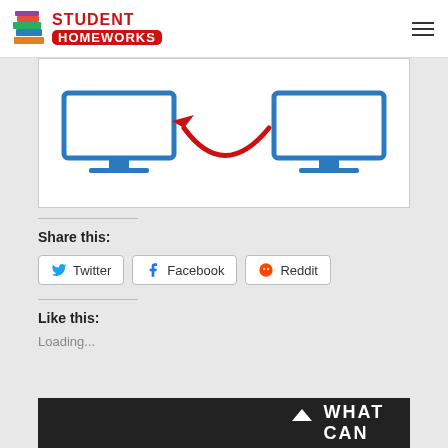STUDENT HOMEWORKS
[Figure (illustration): Two desktop computer monitors connected by a red curved arrow, suggesting data transfer or comparison between two computers. Monitors shown in blue icon style.]
Share this:
Twitter
Facebook
Reddit
Like this:
Loading...
WHAT CAN